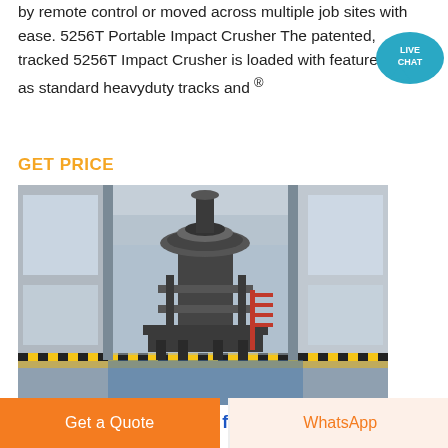by remote control or moved across multiple job sites with ease. 5256T Portable Impact Crusher The patented, tracked 5256T Impact Crusher is loaded with features such as standard heavyduty tracks and ®
GET PRICE
[Figure (photo): Industrial heavy machinery (impact crusher) inside a large warehouse/factory building with steel frames and natural light coming through windows]
Portable Rock Crushers for Sale | Rock Crus
Get a Quote
WhatsApp